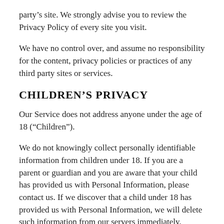party’s site. We strongly advise you to review the Privacy Policy of every site you visit.
We have no control over, and assume no responsibility for the content, privacy policies or practices of any third party sites or services.
CHILDREN’S PRIVACY
Our Service does not address anyone under the age of 18 (“Children”).
We do not knowingly collect personally identifiable information from children under 18. If you are a parent or guardian and you are aware that your child has provided us with Personal Information, please contact us. If we discover that a child under 18 has provided us with Personal Information, we will delete such information from our servers immediately.